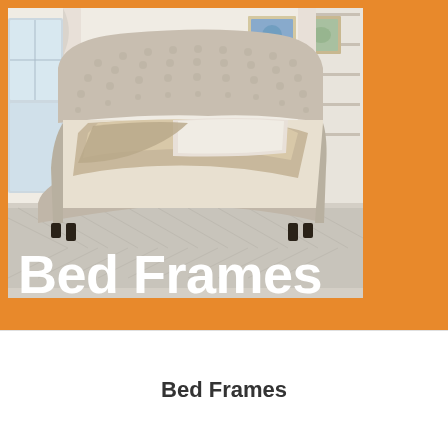[Figure (photo): A luxurious upholstered sleigh bed with a tufted velvet headboard and footboard in silver/cream color, placed in a bright bedroom with white shelving and curtains in the background. Herringbone patterned rug on the floor.]
Bed Frames
Bed Frames